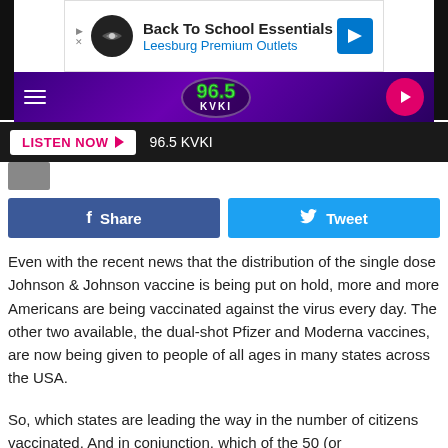[Figure (screenshot): Ad banner for Back To School Essentials at Leesburg Premium Outlets]
[Figure (logo): 96.5 KVKI radio station navigation bar with hamburger menu and play button]
[Figure (screenshot): Listen Now bar with 96.5 KVKI station name]
[Figure (screenshot): Facebook Share and Twitter Tweet social sharing buttons]
Even with the recent news that the distribution of the single dose Johnson & Johnson vaccine is being put on hold, more and more Americans are being vaccinated against the virus every day. The other two available, the dual-shot Pfizer and Moderna vaccines, are now being given to people of all ages in many states across the USA.
So, which states are leading the way in the number of citizens vaccinated. And in conjunction, which of the 50 (or